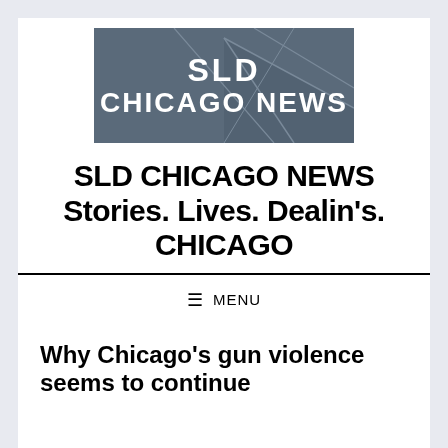[Figure (logo): SLD Chicago News logo — dark blue-gray background with geometric line patterns, white bold text reading 'SLD' on top line and 'CHICAGO NEWS' on second line]
SLD CHICAGO NEWS Stories. Lives. Dealin's. CHICAGO
≡ MENU
Why Chicago's gun violence seems to continue